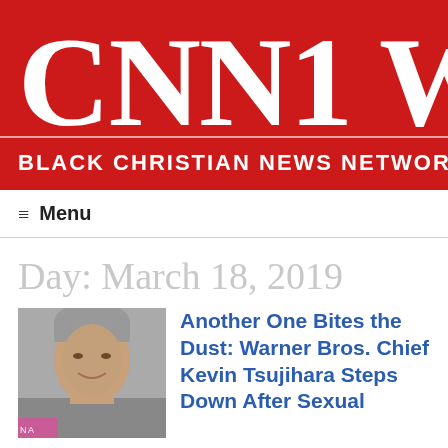[Figure (logo): CNN1 W (Black Christian News Network) logo — large white serif letters on red background with subtitle 'BLACK CHRISTIAN NEWS NETWORK' below a horizontal divider line]
≡  Menu
Day: March 18, 2019
[Figure (photo): Photo of Kevin Tsujihara, an Asian man with grey hair, smiling, partial view]
Another One Bites the Dust: Warner Bros. Chief Kevin Tsujihara Steps Down After Sexual...